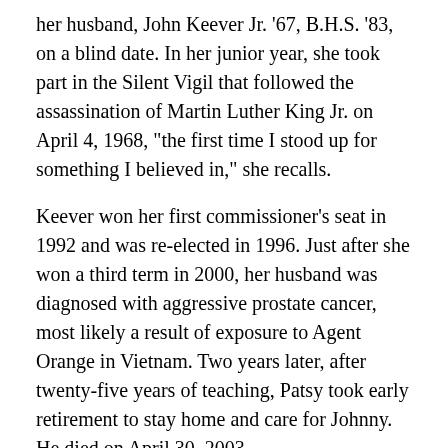her husband, John Keever Jr. '67, B.H.S. '83, on a blind date. In her junior year, she took part in the Silent Vigil that followed the assassination of Martin Luther King Jr. on April 4, 1968, "the first time I stood up for something I believed in," she recalls.
Keever won her first commissioner's seat in 1992 and was re-elected in 1996. Just after she won a third term in 2000, her husband was diagnosed with aggressive prostate cancer, most likely a result of exposure to Agent Orange in Vietnam. Two years later, after twenty-five years of teaching, Patsy took early retirement to stay home and care for Johnny. He died on April 30, 2003.
After months of mulling her next move, Patsy decided she wouldn't run for chair of the county commission after all, as Johnny had urged. Instead, she'd run for U.S. Congress. She asked Betsy to be